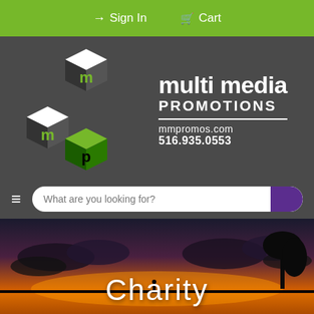Sign In  Cart
[Figure (logo): Multi Media Promotions logo: three interlocking 3D cubes in green, black and white with letters m, m, p. Beside it: 'multi media PROMOTIONS mmpromos.com 516.935.0553' in white text on dark gray background.]
What are you looking for?
[Figure (photo): Sunset silhouette landscape with dramatic orange sky, clouds, water, and a lone figure standing in the distance. Text overlay reads 'Charity' in large white letters.]